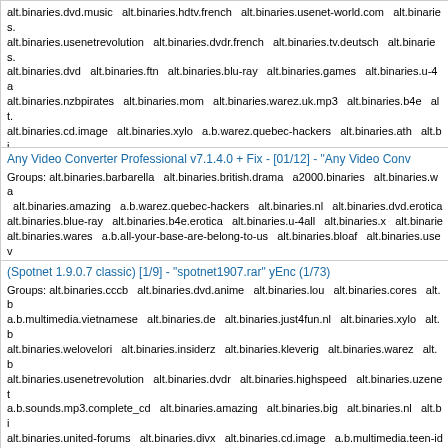alt.binaries.dvd.music  alt.binaries.hdtv.french  alt.binaries.usenet-world.com  alt.binaries. alt.binaries.usenetrevolution  alt.binaries.dvdr.french  alt.binaries.tv.deutsch  alt.binaries. alt.binaries.dvd  alt.binaries.ftn  alt.binaries.blu-ray  alt.binaries.games  alt.binaries.u-4a alt.binaries.nzbpirates  alt.binaries.mom  alt.binaries.warez.uk.mp3  alt.binaries.b4e  alt. alt.binaries.cd.image  alt.binaries.xylo  a.b.warez.quebec-hackers  alt.binaries.ath  alt.bi  alt.binaries.cccb  alt.binaries.amazing  alt.binaries.insiderz  alt.binaries.multimedia  es. alt.binaries.unity  alt.binaries.ghosts  alt.binaries.big  alt.binaries.games.wii  alt.binaries. alt.binaries.welovehelix  a.b.sounds.mp3.complete_cd  alt.binaries.dvds  alt.binaries.war alt.binaries.rar.pw-required  alt.binaries.bloaf  alt.binaries.dvd.erotica  alt.binaries.chello alt.binaries.movies.spanish  alt.binaries.hdtv.x264  a.b.multimedia.vietnamese Posted by: CPP-gebruiker@d omein.nl (CPP-Gebruiker)
Any Video Converter Professional v7.1.4.0 + Fix - [01/12] - "Any Video Conv Groups: alt.binaries.barbarella  alt.binaries.british.drama  a2000.binaries  alt.binaries.wa  alt.binaries.amazing  a.b.warez.quebec-hackers  alt.binaries.nl  alt.binaries.dvd.erotica alt.binaries.blue-ray  alt.binaries.b4e.erotica  alt.binaries.u-4all  alt.binaries.x  alt.binarie alt.binaries.wares  a.b.all-your-base-are-belong-to-us  alt.binaries.bloaf  alt.binaries.usev a.b.warez.quebec-hackers.d  alt.binaries.comp  alt.binaries.erotica.vcd  alt.binaries.bone alt.binaries.tatu  a.b.warez.quebec-hackers.dvd  alt.binaries.dvd  alt.binaries.erotica.sex Posted by: pastoree77@gmai l.com (pastoree)
(Spotnet 1.9.0.7 classic) [1/9] - "spotnet1907.rar" yEnc (1/73) Groups: alt.binaries.cccb  alt.binaries.dvd.anime  alt.binaries.lou  alt.binaries.cores  alt.b a.b.multimedia.vietnamese  alt.binaries.de  alt.binaries.just4fun.nl  alt.binaries.xylo  alt.b alt.binaries.welovelori  alt.binaries.insiderz  alt.binaries.kleverig  alt.binaries.warez  alt.b alt.binaries.usenetrevolution  alt.binaries.dvdr  alt.binaries.highspeed  alt.binaries.uzenet a.b.sounds.mp3.complete_cd  alt.binaries.amazing  alt.binaries.big  alt.binaries.nl  alt.bi alt.binaries.united-forums  alt.binaries.divx  alt.binaries.cd.image  a.b.multimedia.teen-id alt.binaries.etc  alt.binaries.dvdrs.pw  alt.binaries.mom  alt.binaries.unity  alt.binaries.co alt.binaries.b4e  alt.binaries.hdtv.x264  alt.binaries.usenet-world.com  alt.binaries.b4e.er alt.binaries.test  alt.binaries.bloaf  alt.binaries.movies.spanish  alt.binaries.nzbpirates  a alt.binaries.multimedia.scifi  alt.binaries.dvd.erotica  alt.binaries.german.movies  alt.bina alt.binaries.tvseries  alt.binaries.x  alt.binaries.pwp  alt.binaries.the-terminal  alt.binaries alt.binaries.hdtv.french  alt.binaries.dgma  alt.binaries.dvds  alt.binaries.multimedia  alt.b es.binarios.hd  alt.binaries.blu-ray  alt.binaries.ath  alt.binaries.nordic.dvdr Posted by: CPP-gebruiker@d omein.nl (CPP-Gebruiker)